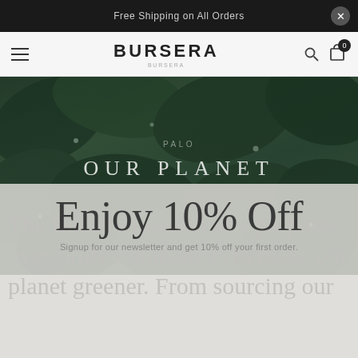Free Shipping on All Orders
BURSERA
[Figure (photo): Hero image of green leaves with water droplets, overlaid with large white text reading 'OUR PLANET' and a faint 'PALO' label above it]
Enjoy 10% Off
Signup for our newsletter and get 10% off your first order.
The Bursera mission as a purpose-over-profit company is to make our planet greener. From sourcing our